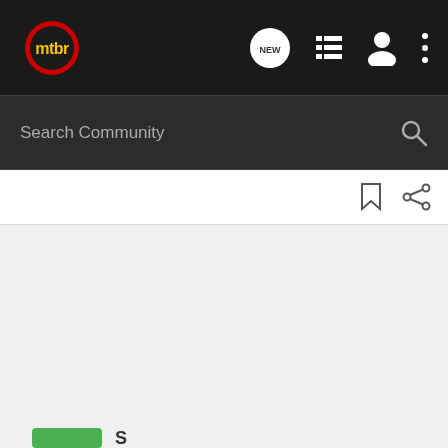[Figure (logo): mtbr logo: yellow 'mtbr' text on dark circle with red ring]
[Figure (screenshot): Navigation bar icons: NEW speech bubble, list/menu icon, user icon, three-dot menu icon]
[Figure (screenshot): Search bar with 'Search Community' placeholder text and magnifying glass icon]
[Figure (screenshot): Toolbar with bookmark and share icons]
[Figure (screenshot): Light gray main content area (empty)]
[Figure (screenshot): Cabela's advertisement banner: 'HIGHEST-RATED GEAR' with 4.2 star rating and play button]
[Figure (screenshot): Green button partial at bottom left with partial 'S' text]